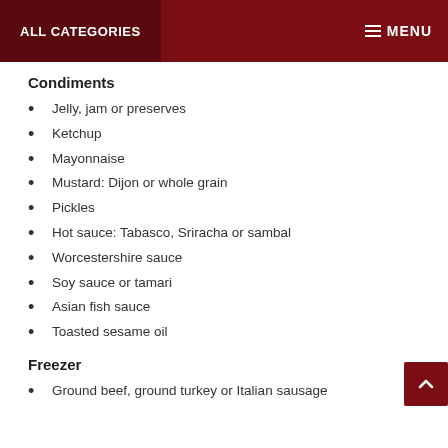ALL CATEGORIES   MENU
Condiments
Jelly, jam or preserves
Ketchup
Mayonnaise
Mustard: Dijon or whole grain
Pickles
Hot sauce: Tabasco, Sriracha or sambal
Worcestershire sauce
Soy sauce or tamari
Asian fish sauce
Toasted sesame oil
Freezer
Ground beef, ground turkey or Italian sausage